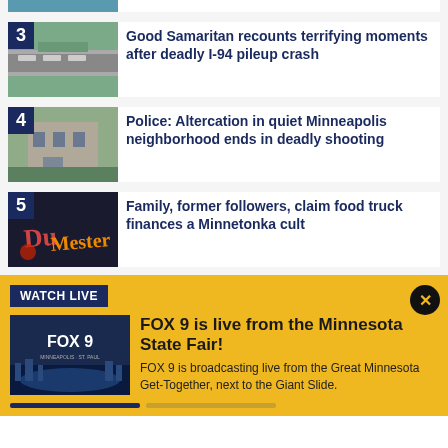[Figure (screenshot): Partial top article thumbnail (cropped, barely visible)]
[Figure (photo): Aerial view of highway/road with cars, numbered 3]
Good Samaritan recounts terrifying moments after deadly I-94 pileup crash
[Figure (photo): Building in a quiet neighborhood, numbered 4]
Police: Altercation in quiet Minneapolis neighborhood ends in deadly shooting
[Figure (photo): Colorful neon sign, numbered 5]
Family, former followers, claim food truck finances a Minnetonka cult
WATCH LIVE
[Figure (screenshot): FOX 9 logo thumbnail with city skyline at dusk]
FOX 9 is live from the Minnesota State Fair!
FOX 9 is broadcasting live from the Great Minnesota Get-Together, next to the Giant Slide.